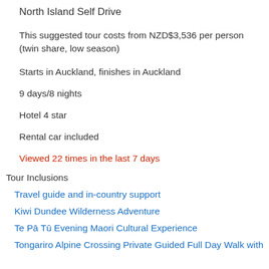North Island Self Drive
This suggested tour costs from NZD$3,536 per person (twin share, low season)
Starts in Auckland, finishes in Auckland
9 days/8 nights
Hotel 4 star
Rental car included
Viewed 22 times in the last 7 days
Tour Inclusions
Travel guide and in-country support
Kiwi Dundee Wilderness Adventure
Te Pā Tū Evening Maori Cultural Experience
Tongariro Alpine Crossing Private Guided Full Day Walk with